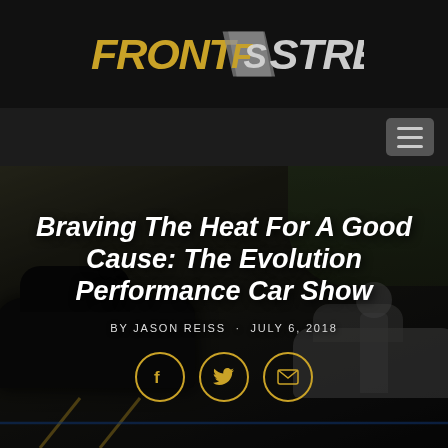FRONT STREET (logo)
Braving The Heat For A Good Cause: The Evolution Performance Car Show
BY JASON REISS · JULY 6, 2018
[Figure (illustration): Three social media share icons (Facebook, Twitter, Email) with gold circular borders on a dark hero image background of a car show parking lot]